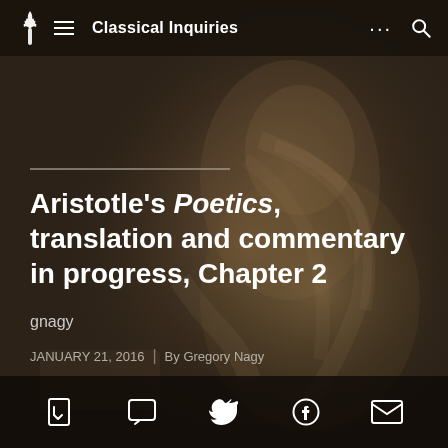Classical Inquiries
Aristotle's Poetics, translation and commentary in progress, Chapter 2
gnagy
JANUARY 21, 2016  |  By Gregory Nagy
[Figure (illustration): Dark background showing a stone or marble sculpture of a bearded figure (likely Aristotle or a classical philosopher), used as a decorative hero image behind the article title overlay.]